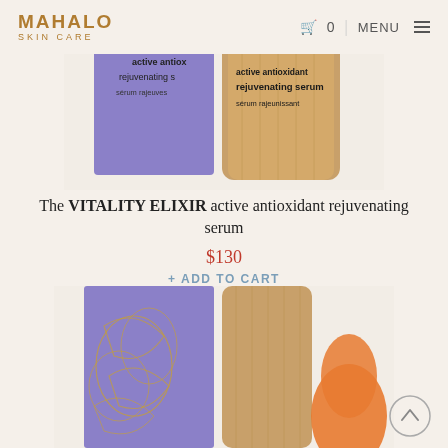MAHALO SKIN CARE — 0 | MENU
[Figure (photo): Top portion of two Mahalo Skin Care product containers — a purple box and a bamboo-capped serum bottle — showing label text 'active antioxidant rejuvenating serum / sérum rajeunissant']
The VITALITY ELIXIR active antioxidant rejuvenating serum
$130
+ ADD TO CART
[Figure (photo): Mahalo Skin Care Vitality Elixir product shown with purple floral-illustrated box and bamboo tube container, with an orange finger/thumb visible at right edge]